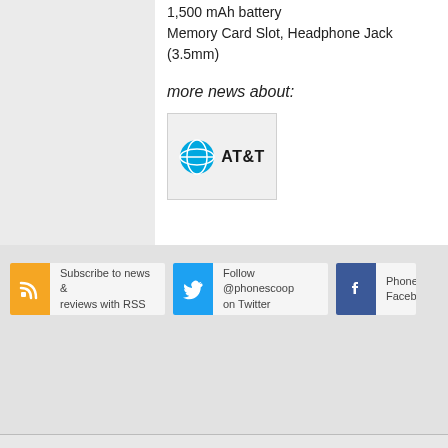1,500 mAh battery
Memory Card Slot, Headphone Jack (3.5mm)
more news about:
[Figure (logo): AT&T logo with globe icon and AT&T text]
Subscribe to news & reviews with RSS
Follow @phonescoop on Twitter
Phone
Faceb